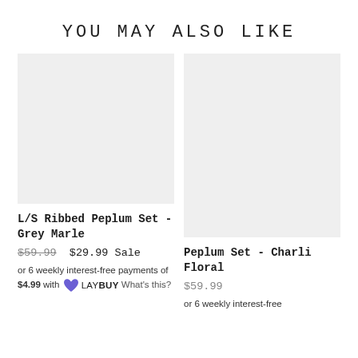YOU MAY ALSO LIKE
[Figure (photo): Product image placeholder – light grey square for L/S Ribbed Peplum Set - Grey Marle]
L/S Ribbed Peplum Set - Grey Marle
$59.99  $29.99 Sale
or 6 weekly interest-free payments of $4.99 with LAYBUY What's this?
[Figure (photo): Product image placeholder – light grey square for Peplum Set - Charli Floral]
Peplum Set - Charli Floral
$59.99
or 6 weekly interest-free